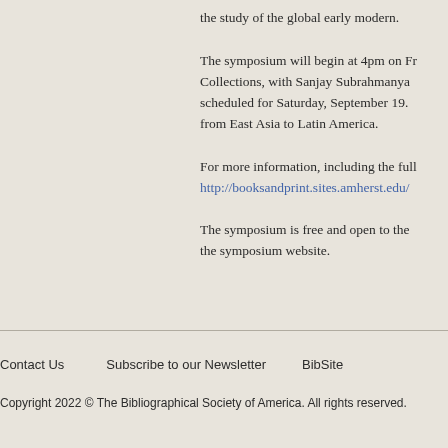the study of the global early modern.
The symposium will begin at 4pm on Fr... Collections, with Sanjay Subrahmanyam... scheduled for Saturday, September 19.... from East Asia to Latin America.
For more information, including the full... http://booksandprint.sites.amherst.edu/
The symposium is free and open to the... the symposium website.
Contact Us   Subscribe to our Newsletter   BibSite
Copyright 2022 © The Bibliographical Society of America. All rights reserved.